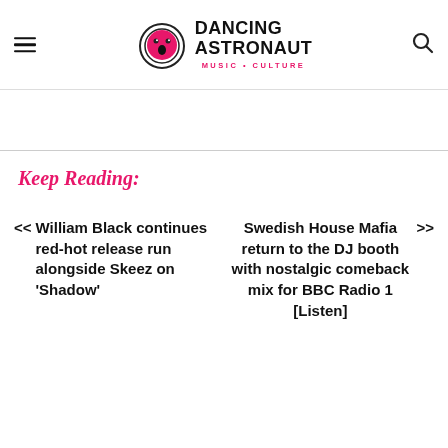Dancing Astronaut MUSIC • CULTURE
Keep Reading:
<< William Black continues red-hot release run alongside Skeez on 'Shadow'
Swedish House Mafia return to the DJ booth with nostalgic comeback mix for BBC Radio 1 [Listen] >>